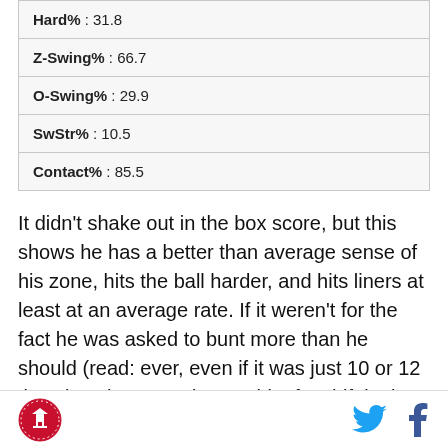| Hard% : 31.8 |
| Z-Swing% : 66.7 |
| O-Swing% : 29.9 |
| SwStr% : 10.5 |
| Contact% : 85.5 |
It didn’t shake out in the box score, but this shows he has a better than average sense of his zone, hits the ball harder, and hits liners at least at an average rate. If it weren’t for the fact he was asked to bunt more than he should (read: ever, even if it was just 10 or 12 times) perhaps we’d see a bit of a shift in that flyball/ground ball ratio. It’s not like his contact rate was
logo | twitter | facebook